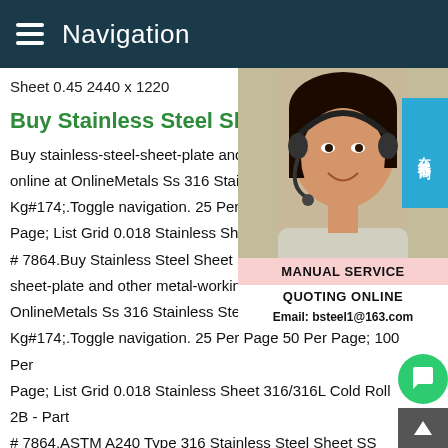Navigation
Sheet 0.45 2440 x 1220
Buy Stainless Steel Sheet Pla
Buy stainless-steel-sheet-plate and other metal-working products online at OnlineMetals Ss 316 Stainless Steel Sheet Kg#174;.Toggle navigation. 25 Per Page 50 Per Page; List Grid 0.018 Stainless Sheet 316/316L Cold Roll 2B - Part # 7864.Buy Stainless Steel Sheet Plate O sheet-plate and other metal-working products OnlineMetals Ss 316 Stainless Steel Sheet Kg#174;.Toggle navigation. 25 Per Page 50 Per Page; 100 Per Page; List Grid 0.018 Stainless Sheet 316/316L Cold Roll 2B - Part # 7864.ASTM A240 Type 316 Stainless Steel Sheet SS 316 P We keep Stainless Steel 316 Sheet in thickness 0.01 to 160 m ASTM A240 SS 316 plate in 0.02 to 100 mm.we offer Gr 316 Coil,S31600 Strips,1.4401 Foil at Low Cost,check 1.4436 Shi
[Figure (photo): Customer service representative woman wearing headset, smiling, with Chinese text badge '在线咨询' (Online Consultation) and service box showing MANUAL SERVICE, QUOTING ONLINE, Email: bsteel1@163.com]